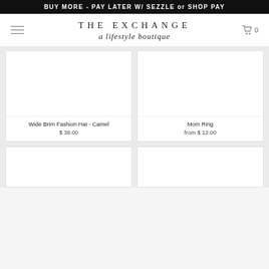BUY MORE - PAY LATER W/ SEZZLE or SHOP PAY
[Figure (logo): THE EXCHANGE a lifestyle boutique logo with hamburger menu icon and cart icon showing 0 items]
[Figure (photo): Product image placeholder for Wide Brim Fashion Hat - Camel]
Wide Brim Fashion Hat - Camel
$ 38.00
[Figure (photo): Product image placeholder for Mom Ring]
Mom Ring
from $ 12.00
[Figure (photo): Product image placeholder for second row left item]
[Figure (photo): Product image placeholder for second row right item]